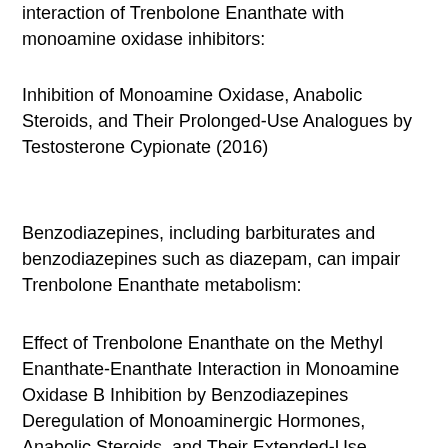interaction of Trenbolone Enanthate with monoamine oxidase inhibitors:
Inhibition of Monoamine Oxidase, Anabolic Steroids, and Their Prolonged-Use Analogues by Testosterone Cypionate (2016)
Benzodiazepines, including barbiturates and benzodiazepines such as diazepam, can impair Trenbolone Enanthate metabolism:
Effect of Trenbolone Enanthate on the Methyl Enanthate-Enanthate Interaction in Monoamine Oxidase B Inhibition by Benzodiazepines Deregulation of Monoaminergic Hormones, Anabolic Steroids, and Their Extended-Use Analogues by Trenbolone Enanthate and Oxandrolone (2016)